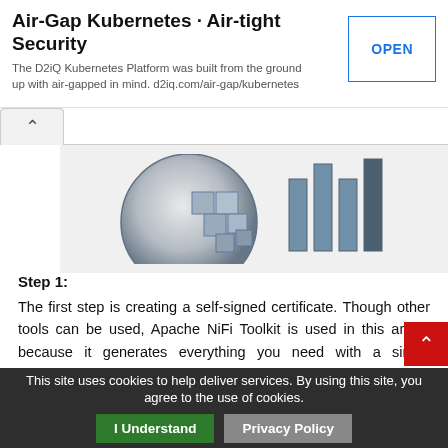Air-Gap Kubernetes - Air-tight Security
The D2iQ Kubernetes Platform was built from the ground up with air-gapped in mind. d2iq.com/air-gap/kubernetes
[Figure (logo): Network/globe logo with tiled squares on left, and vertical bar chart silhouette on right]
Step 1:
The first step is creating a self-signed certificate. Though other tools can be used, Apache NiFi Toolkit is used in this article because it generates everything you need with a single command.
Step 1.1:
Download the latest Apache NiFi Toolkit from the official website.
This site uses cookies to help deliver services. By using this site, you agree to the use of cookies.   I Understand   Privacy Policy